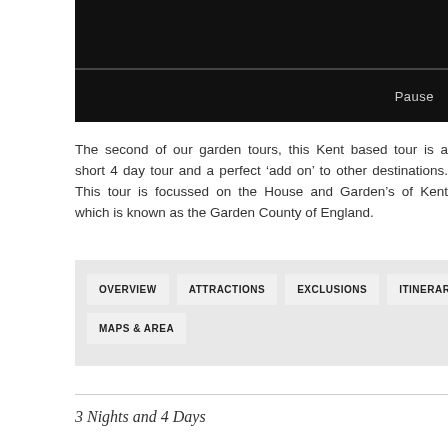[Figure (screenshot): Dark header bar with a 'Pause' button label in the lower right]
The second of our garden tours, this Kent based tour is a short 4 day tour and a perfect ‘add on’ to other destinations. This tour is focussed on the House and Garden’s of Kent which is known as the Garden County of England.
OVERVIEW
ATTRACTIONS
EXCLUSIONS
ITINERARY
MAPS & AREA
3 Nights and 4 Days